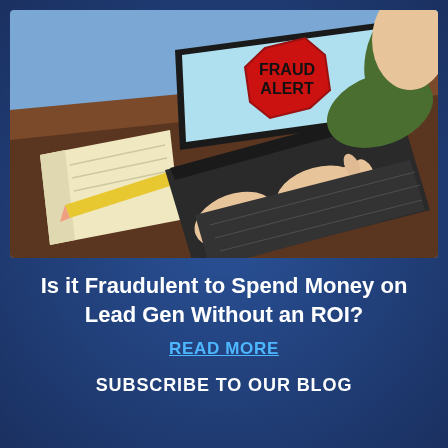[Figure (illustration): Illustration of a person typing on a laptop at a desk. The laptop screen displays a red octagonal FRAUD ALERT sign on a light blue background. On the desk there is a notepad and a yellow pencil. The person is wearing a green sleeve and has a skin-tone hand.]
Is it Fraudulent to Spend Money on Lead Gen Without an ROI?
READ MORE
SUBSCRIBE TO OUR BLOG